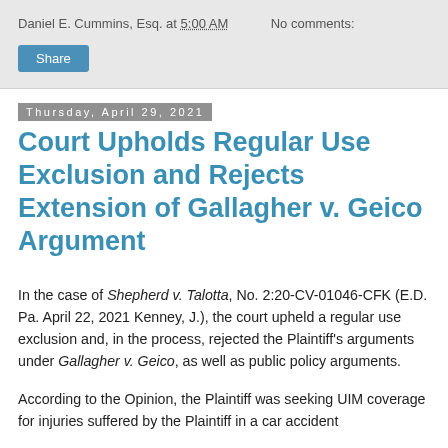Daniel E. Cummins, Esq. at 5:00 AM   No comments:
Share
Thursday, April 29, 2021
Court Upholds Regular Use Exclusion and Rejects Extension of Gallagher v. Geico Argument
In the case of Shepherd v. Talotta, No. 2:20-CV-01046-CFK (E.D. Pa. April 22, 2021 Kenney, J.), the court upheld a regular use exclusion and, in the process, rejected the Plaintiff's arguments under Gallagher v. Geico, as well as public policy arguments.
According to the Opinion, the Plaintiff was seeking UIM coverage for injuries suffered by the Plaintiff in a car accident